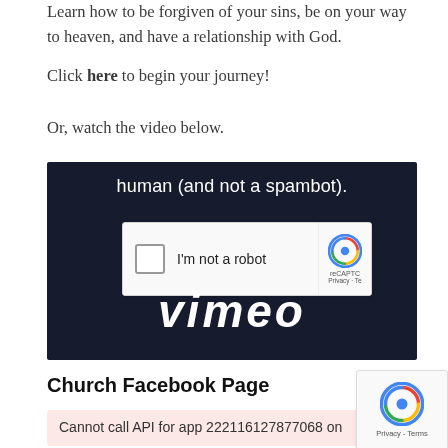Learn how to be forgiven of your sins, be on your way to heaven, and have a relationship with God.
Click here to begin your journey!
Or, watch the video below.
[Figure (screenshot): A Vimeo video embed showing a reCAPTCHA 'I'm not a robot' widget overlaid on a dark navy background with the Vimeo logo text in white italic font at the bottom.]
Church Facebook Page
Cannot call API for app 222116127877068 on